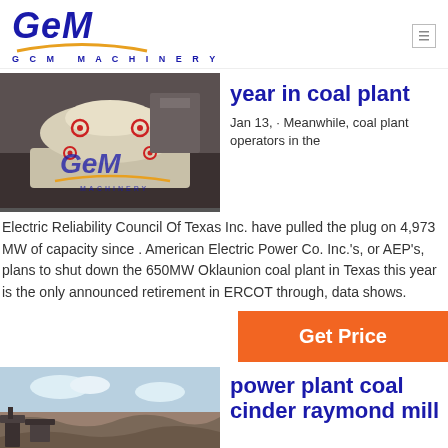[Figure (logo): GCM Machinery logo with stylized blue italic GCM text and orange arc underline]
year in coal plant
[Figure (photo): Industrial cone crusher machine in a factory setting with GCM watermark]
Jan 13, · Meanwhile, coal plant operators in the
Electric Reliability Council Of Texas Inc. have pulled the plug on 4,973 MW of capacity since . American Electric Power Co. Inc.'s, or AEP's, plans to shut down the 650MW Oklaunion coal plant in Texas this year is the only announced retirement in ERCOT through, data shows.
Get Price
[Figure (photo): Open pit mining or quarry site with heavy equipment]
power plant coal cinder raymond mill